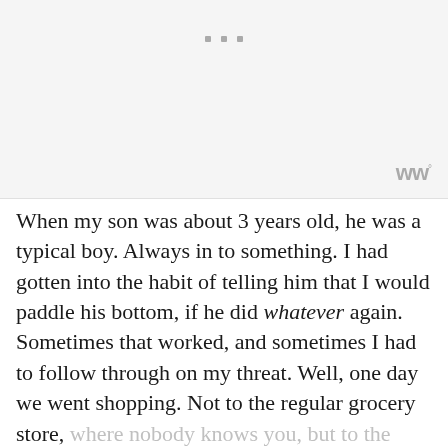[Figure (other): Light gray placeholder image area with three small square dots near the top center and a 'WW°' logo watermark in the bottom right corner]
When my son was about 3 years old, he was a typical boy. Always in to something. I had gotten into the habit of telling him that I would paddle his bottom, if he did whatever again. Sometimes that worked, and sometimes I had to follow through on my threat. Well, one day we went shopping. Not to the regular grocery store, where nobody knows you, but to the neighborhood meat market–where [text continues]